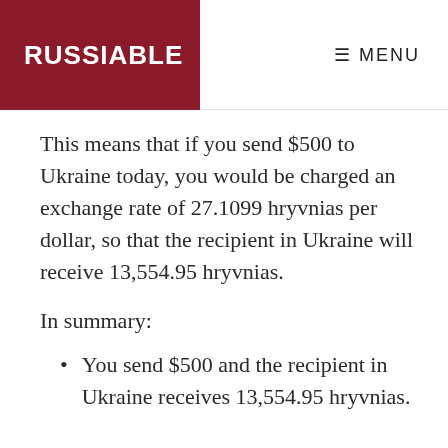RUSSIABLE   ≡ MENU
This means that if you send $500 to Ukraine today, you would be charged an exchange rate of 27.1099 hryvnias per dollar, so that the recipient in Ukraine will receive 13,554.95 hryvnias.
In summary:
You send $500 and the recipient in Ukraine receives 13,554.95 hryvnias.